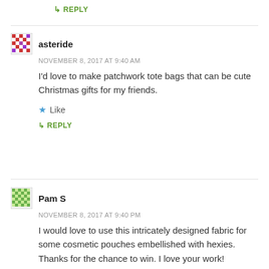↳ REPLY
asteride
NOVEMBER 8, 2017 AT 9:40 AM
I'd love to make patchwork tote bags that can be cute Christmas gifts for my friends.
★ Like
↳ REPLY
Pam S
NOVEMBER 8, 2017 AT 9:40 PM
I would love to use this intricately designed fabric for some cosmetic pouches embellished with hexies. Thanks for the chance to win. I love your work!